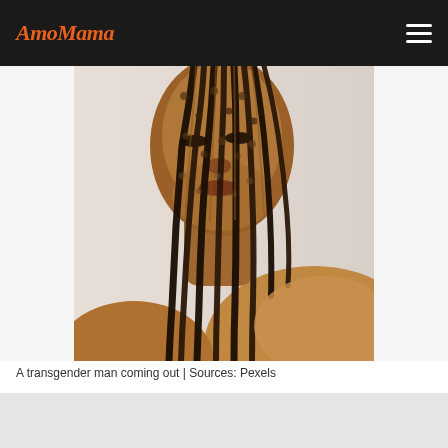AmoMama
[Figure (photo): A transgender man with braided hair coming out, shirtless, photographed against a light background. Portrait-style image cropped at the top of the head, showing face and shoulder.]
A transgender man coming out | Sources: Pexels
ADVERTISEMENT